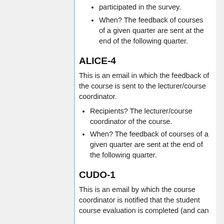participated in the survey.
When? The feedback of courses of a given quarter are sent at the end of the following quarter.
ALICE-4
This is an email in which the feedback of the course is sent to the lecturer/course coordinator.
Recipients? The lecturer/course coordinator of the course.
When? The feedback of courses of a given quarter are sent at the end of the following quarter.
CUDO-1
This is an email by which the course coordinator is notified that the student course evaluation is completed (and can